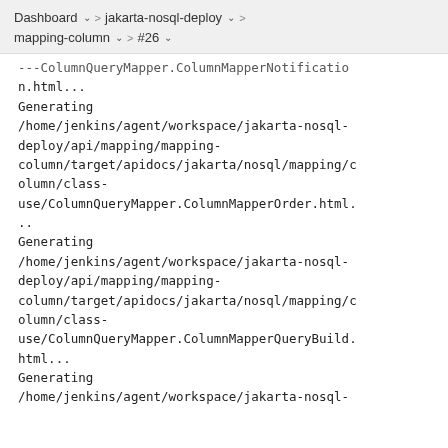Dashboard > jakarta-nosql-deploy > mapping-column > #26
...ColumnQueryMapper.ColumnMapperNotification.html...
Generating
/home/jenkins/agent/workspace/jakarta-nosql-deploy/api/mapping/mapping-column/target/apidocs/jakarta/nosql/mapping/column/class-use/ColumnQueryMapper.ColumnMapperOrder.html...
Generating
/home/jenkins/agent/workspace/jakarta-nosql-deploy/api/mapping/mapping-column/target/apidocs/jakarta/nosql/mapping/column/class-use/ColumnQueryMapper.ColumnMapperQueryBuild.html...
Generating
/home/jenkins/agent/workspace/jakarta-nosql-